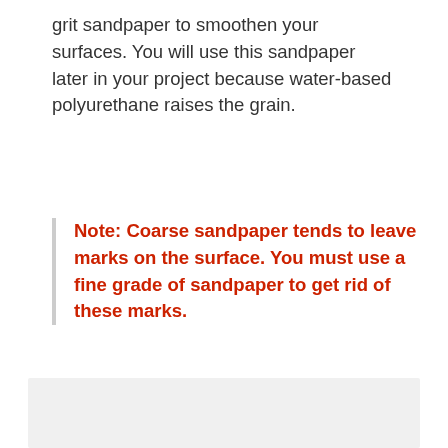grit sandpaper to smoothen your surfaces. You will use this sandpaper later in your project because water-based polyurethane raises the grain.
Note: Coarse sandpaper tends to leave marks on the surface. You must use a fine grade of sandpaper to get rid of these marks.
[Figure (photo): Light gray rectangular placeholder image area at the bottom of the page]